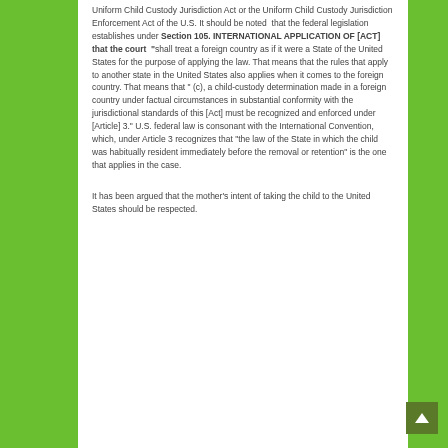Uniform Child Custody Jurisdiction Act or the Uniform Child Custody Jurisdiction Enforcement Act of the U.S. It should be noted that the federal legislation establishes under Section 105. INTERNATIONAL APPLICATION OF [ACT] that the court “shall treat a foreign country as if it were a State of the United States for the purpose of applying the law. That means that the rules that apply to another state in the United States also applies when it comes to the foreign country. That means that ” (c), a child-custody determination made in a foreign country under factual circumstances in substantial conformity with the jurisdictional standards of this [Act] must be recognized and enforced under [Article] 3.” U.S. federal law is consonant with the International Convention, which, under Article 3 recognizes that “the law of the State in which the child was habitually resident immediately before the removal or retention” is the one that applies in the case.
It has been argued that the mother’s intent of taking the child to the United States should be respected.